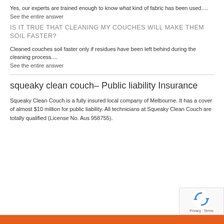Yes, our experts are trained enough to know what kind of fabric has been used….
See the entire answer
IS IT TRUE THAT CLEANING MY COUCHES WILL MAKE THEM SOIL FASTER?
Cleaned couches soil faster only if residues have been left behind during the cleaning process....
See the entire answer
squeaky clean couch– Public liability Insurance
Squeaky Clean Couch is a fully insured local company of Melbourne. It has a cover of almost $10 million for public liability. All technicians at Squeaky Clean Couch are totally qualified (License No. Aus 958755).
[Figure (logo): reCAPTCHA privacy badge with blue recycling-style arrows icon and Privacy - Terms text]